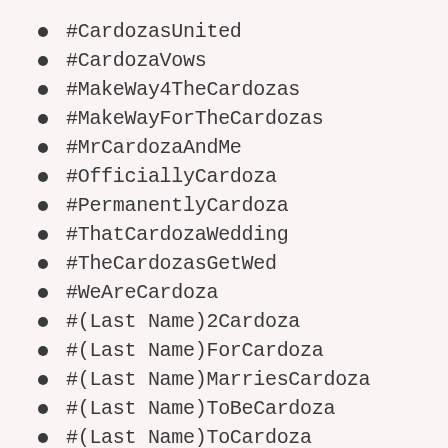#CardozasUnited
#CardozaVows
#MakeWay4TheCardozas
#MakeWayForTheCardozas
#MrCardozaAndMe
#OfficiallyCardoza
#PermanentlyCardoza
#ThatCardozaWedding
#TheCardozasGetWed
#WeAreCardoza
#(Last Name)2Cardoza
#(Last Name)ForCardoza
#(Last Name)MarriesCardoza
#(Last Name)ToBeCardoza
#(Last Name)ToCardoza